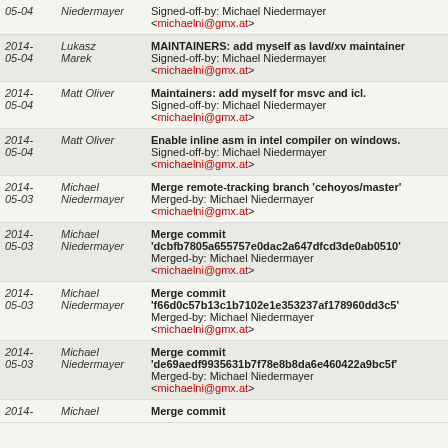| Date | Author | Message |
| --- | --- | --- |
| 2014-05-04 | Niedermayer | Signed-off-by: Michael Niedermayer <michaelni@gmx.at> |
| 2014-05-04 | Lukasz Marek | MAINTAINERS: add myself as lavd/xv maintainer
Signed-off-by: Michael Niedermayer <michaelni@gmx.at> |
| 2014-05-04 | Matt Oliver | Maintainers: add myself for msvc and icl.
Signed-off-by: Michael Niedermayer <michaelni@gmx.at> |
| 2014-05-04 | Matt Oliver | Enable inline asm in intel compiler on windows.
Signed-off-by: Michael Niedermayer <michaelni@gmx.at> |
| 2014-05-03 | Michael Niedermayer | Merge remote-tracking branch 'cehoyos/master'
Merged-by: Michael Niedermayer <michaelni@gmx.at> |
| 2014-05-03 | Michael Niedermayer | Merge commit 'dcbfb7805a655757e0dac2a647dfcd3de0ab0510'
Merged-by: Michael Niedermayer <michaelni@gmx.at> |
| 2014-05-03 | Michael Niedermayer | Merge commit 'f66d0c57b13c1b7102e1e353237af178960dd3c5'
Merged-by: Michael Niedermayer <michaelni@gmx.at> |
| 2014-05-03 | Michael Niedermayer | Merge commit 'de69aedf9935631b7f78e8b8da6e460422a9bc5f'
Merged-by: Michael Niedermayer <michaelni@gmx.at> |
| 2014- | Michael | Merge commit |